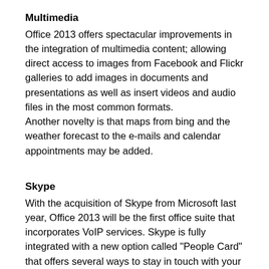Multimedia
Office 2013 offers spectacular improvements in the integration of multimedia content; allowing direct access to images from Facebook and Flickr galleries to add images in documents and presentations as well as insert videos and audio files in the most common formats.
Another novelty is that maps from bing and the weather forecast to the e-mails and calendar appointments may be added.
Skype
With the acquisition of Skype from Microsoft last year, Office 2013 will be the first office suite that incorporates VoIP services. Skype is fully integrated with a new option called "People Card" that offers several ways to stay in touch with your friends or see your social feeds.
As part of your subscription, Skype integrated with Office 365 includes 60 minutes for international calls per month.
Yammer
With the recent acquisition of Yammer, Microsoft advances